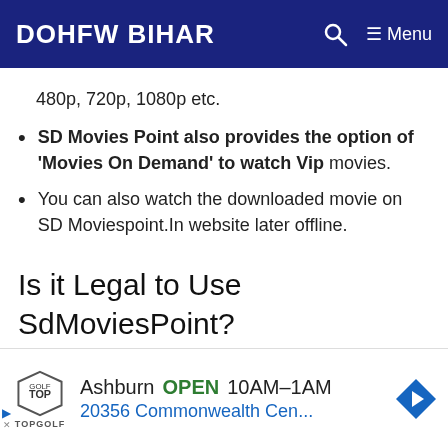DOHFW BIHAR
480p, 720p, 1080p etc.
SD Movies Point also provides the option of ‘Movies On Demand’ to watch Vip movies.
You can also watch the downloaded movie on SD Moviespoint.In website later offline.
Is it Legal to Use SdMoviesPoint?
it is not legal to download or stream
[Figure (infographic): Topgolf ad banner: Ashburn OPEN 10AM-1AM, 20356 Commonwealth Cen...]